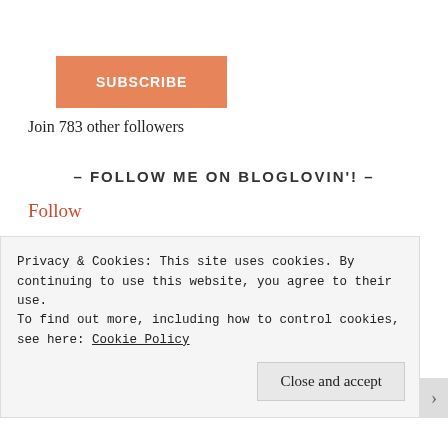[Figure (other): Orange SUBSCRIBE button]
Join 783 other followers
- FOLLOW ME ON BLOGLOVIN'! -
Follow
Advertisements
[Figure (logo): WordPress.com logo on dark blue background]
Privacy & Cookies: This site uses cookies. By continuing to use this website, you agree to their use.
To find out more, including how to control cookies, see here: Cookie Policy
Close and accept